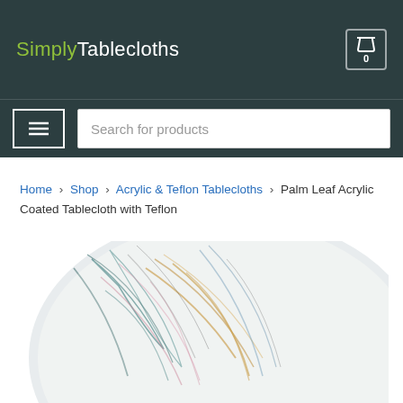Simply Tablecloths
Search for products
Home > Shop > Acrylic & Teflon Tablecloths > Palm Leaf Acrylic Coated Tablecloth with Teflon
[Figure (photo): Close-up photo of a palm leaf patterned acrylic coated tablecloth with Teflon, showing a circular/oval tablecloth with colorful palm frond designs in teal, gold, pink, and grey on a white/light background.]